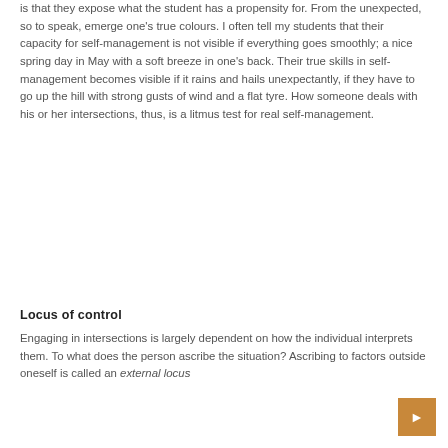is that they expose what the student has a propensity for. From the unexpected, so to speak, emerge one's true colours. I often tell my students that their capacity for self-management is not visible if everything goes smoothly; a nice spring day in May with a soft breeze in one's back. Their true skills in self-management becomes visible if it rains and hails unexpectantly, if they have to go up the hill with strong gusts of wind and a flat tyre. How someone deals with his or her intersections, thus, is a litmus test for real self-management.
Locus of control
Engaging in intersections is largely dependent on how the individual interprets them. To what does the person ascribe the situation? Ascribing to factors outside oneself is called an external locus